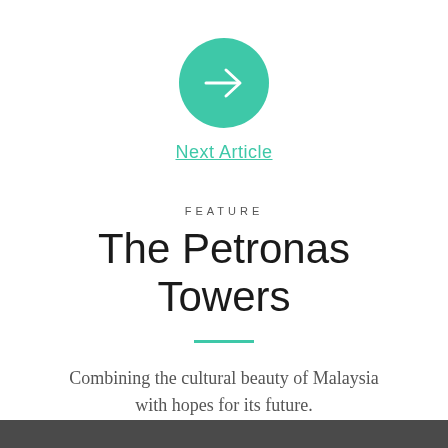[Figure (illustration): Teal/turquoise filled circle with a white right-pointing arrow in the center]
Next Article
FEATURE
The Petronas Towers
Combining the cultural beauty of Malaysia with hopes for its future.